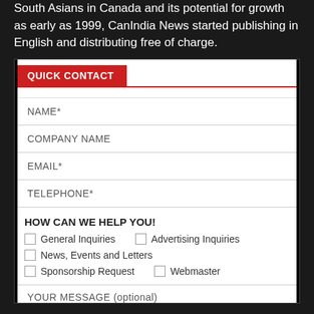South Asians in Canada and its potential for growth as early as 1999, CanIndia News started publishing in English and distributing free of charge.
QUICK CONTACT
NAME*
COMPANY NAME
EMAIL*
TELEPHONE*
HOW CAN WE HELP YOU!
General Inquiries
Advertising Inquiries
News, Events and Letters
Sponsorship Request
Webmaster
YOUR MESSAGE (optional)